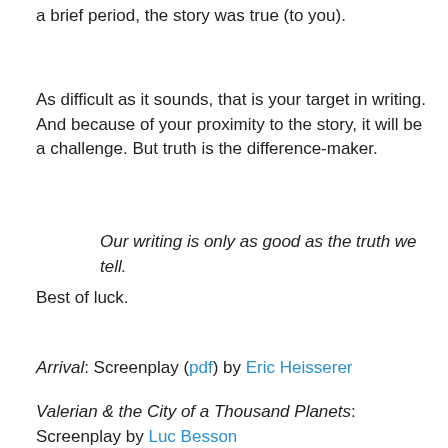a brief period, the story was true (to you).
As difficult as it sounds, that is your target in writing. And because of your proximity to the story, it will be a challenge. But truth is the difference-maker.
Our writing is only as good as the truth we tell.
Best of luck.
Arrival: Screenplay (pdf) by Eric Heisserer
Valerian & the City of a Thousand Planets: Screenplay by Luc Besson